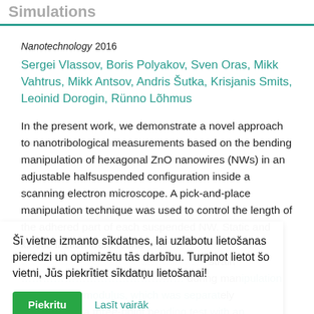Simulations
Nanotechnology 2016
Sergei Vlassov, Boris Polyakov, Sven Oras, Mikk Vahtrus, Mikk Antsov, Andris Šutka, Krisjanis Smits, Leoinid Dorogin, Rünno Lõhmus
In the present work, we demonstrate a novel approach to nanotribological measurements based on the bending manipulation of hexagonal ZnO nanowires (NWs) in an adjustable halfsuspended configuration inside a scanning electron microscope. A pick-and-place manipulation technique was used to control the length of the adhered part of each suspended NW. Static and kinetic friction were found ... strain ... NW during manipulation ... Young's modulus, which was separately measured in a three-point bending test with an atomic force microscope. The calculation of static
Šī vietne izmanto sīkdatnes, lai uzlabotu lietošanas pieredzi un optimizētu tās darbību. Turpinot lietot šo vietni, Jūs piekrītiet sīkdatņu lietošanai!